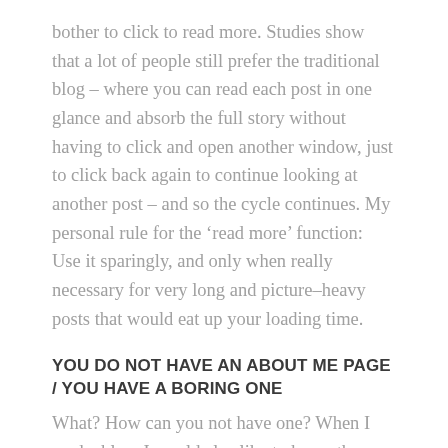bother to click to read more. Studies show that a lot of people still prefer the traditional blog – where you can read each post in one glance and absorb the full story without having to click and open another window, just to click back again to continue looking at another post – and so the cycle continues. My personal rule for the 'read more' function: Use it sparingly, and only when really necessary for very long and picture–heavy posts that would eat up your loading time.
YOU DO NOT HAVE AN ABOUT ME PAGE / YOU HAVE A BORING ONE
What? How can you not have one? When I read a blog, I would also like to know the person behind the blog. Why hide your face and your story? Speaking of story – you do not have to write a life–long autobiography in your About Me. Just a few short paragraphs on what makes you